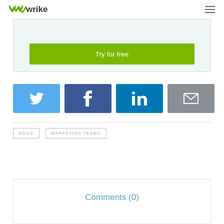wrike
[Figure (screenshot): Green 'Try for free' button on a light teal/grey background banner]
[Figure (infographic): Row of four social sharing buttons: Twitter (light blue), Facebook (dark blue), LinkedIn (medium blue), Email (grey), each with their respective icons]
AGILE
MARKETING TEAMS
Comments (0)